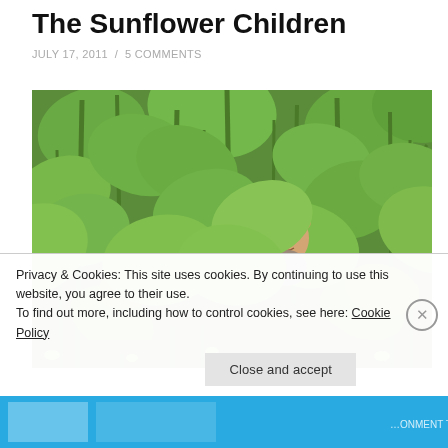The Sunflower Children
JULY 17, 2011 / 5 COMMENTS
[Figure (photo): A child partially hidden among tall sunflower plants with large green leaves in a garden]
Privacy & Cookies: This site uses cookies. By continuing to use this website, you agree to their use.
To find out more, including how to control cookies, see here: Cookie Policy
Close and accept